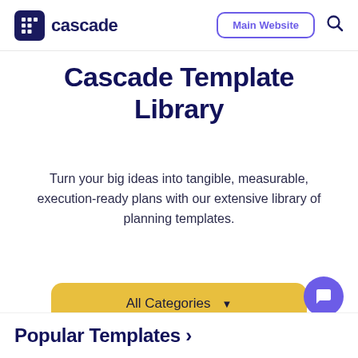cascade    Main Website    🔍
Cascade Template Library
Turn your big ideas into tangible, measurable, execution-ready plans with our extensive library of planning templates.
All Categories ▼
Popular Templates >